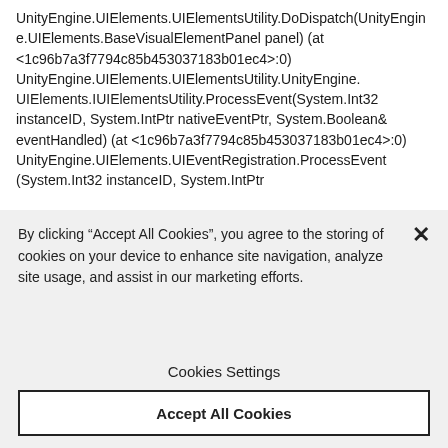UnityEngine.UIElements.UIElementsUtility.DoDispatch(UnityEngine.UIElements.BaseVisualElementPanel panel) (at <1c96b7a3f7794c85b453037183b01ec4>:0) UnityEngine.UIElements.UIElementsUtility.UnityEngine.UIElements.IUIElementsUtility.ProcessEvent(System.Int32 instanceID, System.IntPtr nativeEventPtr, System.Boolean& eventHandled) (at <1c96b7a3f7794c85b453037183b01ec4>:0) UnityEngine.UIElements.UIEventRegistration.ProcessEvent(System.Int32 instanceID, System.IntPtr
By clicking “Accept All Cookies”, you agree to the storing of cookies on your device to enhance site navigation, analyze site usage, and assist in our marketing efforts.
Cookies Settings
Accept All Cookies